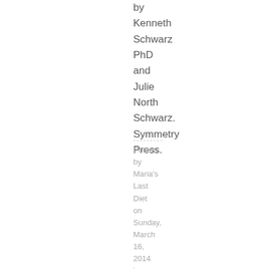by Kenneth Schwarz PhD and Julie North Schwarz. Symmetry Press.
..........
Posted by Maria's Last Diet on Sunday, March 16, 2014 in Difficult to Lose Weight/Easier Weight Loss | Permalink